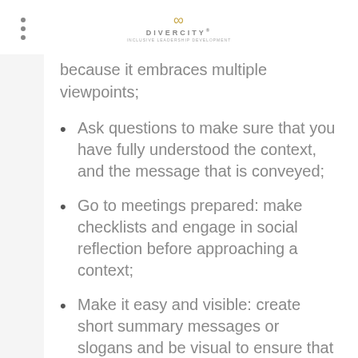DIVERCITY
because it embraces multiple viewpoints;
Ask questions to make sure that you have fully understood the context, and the message that is conveyed;
Go to meetings prepared: make checklists and engage in social reflection before approaching a context;
Make it easy and visible: create short summary messages or slogans and be visual to ensure that you